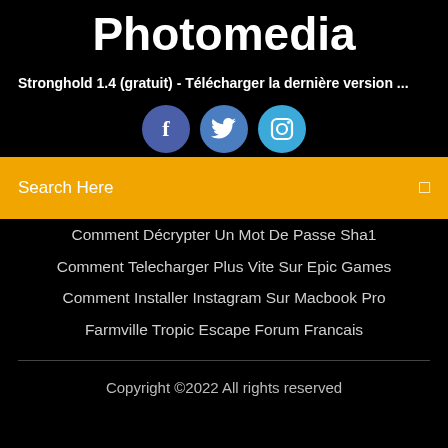Photomedia
Stronghold 1.4 (gratuit) - Télécharger la dernière version ...
[Figure (illustration): Three circular social media icon buttons: Facebook (dark blue), Twitter (medium blue), Instagram (light blue), partially cropped at bottom]
Search Here
Comment Décrypter Un Mot De Passe Sha1
Comment Telecharger Plus Vite Sur Epic Games
Comment Installer Instagram Sur Macbook Pro
Farmville Tropic Escape Forum Francais
Copyright ©2022 All rights reserved